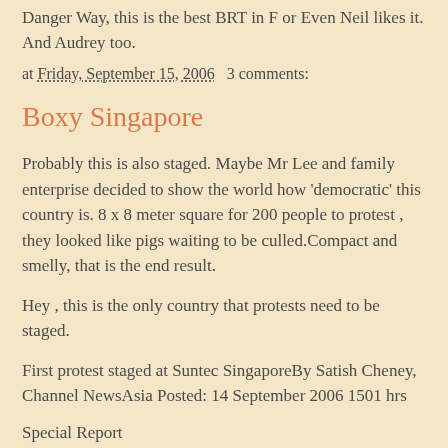Danger Way, this is the best BRT in F or Even Neil likes it. And Audrey too.
at Friday, September 15, 2006   3 comments:
Boxy Singapore
Probably this is also staged. Maybe Mr Lee and family enterprise decided to show the world how 'democratic' this country is. 8 x 8 meter square for 200 people to protest , they looked like pigs waiting to be culled.Compact and smelly, that is the end result.
Hey , this is the only country that protests need to be staged.
First protest staged at Suntec SingaporeBy Satish Cheney, Channel NewsAsia Posted: 14 September 2006 1501 hrs
Special Report
•
Singapore 2006...